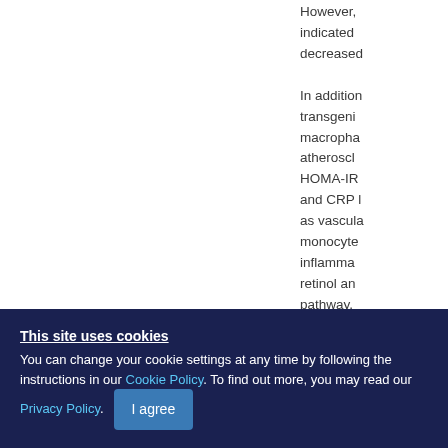However, indicated decreased In addition, transgenic macrophage atherosclerosis HOMA-IR and CRP levels as vascular monocyte inflammation retinol and pathway.
This site uses cookies
You can change your cookie settings at any time by following the instructions in our Cookie Policy. To find out more, you may read our Privacy Policy.